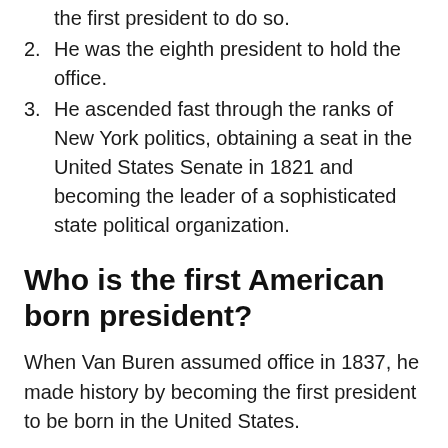the first president to do so.
2. He was the eighth president to hold the office.
3. He ascended fast through the ranks of New York politics, obtaining a seat in the United States Senate in 1821 and becoming the leader of a sophisticated state political organization.
Who is the first American born president?
When Van Buren assumed office in 1837, he made history by becoming the first president to be born in the United States.
You might be interested:  FAQ: How Do You